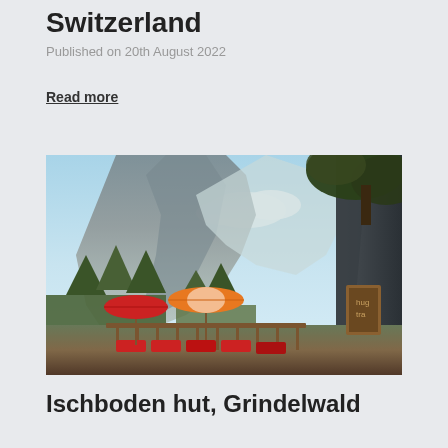Switzerland
Published on 20th August 2022
Read more
[Figure (photo): Outdoor terrace or hut scene with red deck chairs and colorful umbrellas (red and orange/white striped) in the foreground, with a dramatic Alpine mountain cliff face and forested slopes in the background under a blue sky with clouds. A wooden sign is visible on the right side.]
Ischboden hut, Grindelwald